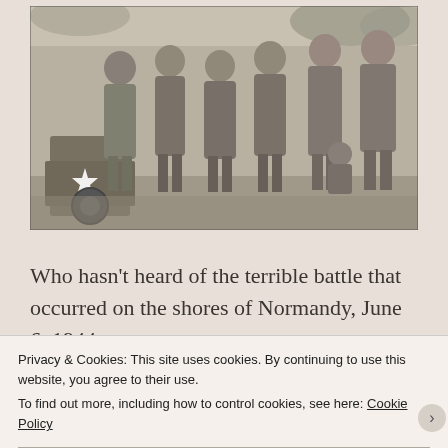[Figure (photo): Black and white historical photograph showing a group of women in military uniforms posing together outdoors near a military vehicle with a white star. Appears to be WWII era.]
Who hasn't heard of the terrible battle that occurred on the shores of Normandy, June 6, 1944
Privacy & Cookies: This site uses cookies. By continuing to use this website, you agree to their use.
To find out more, including how to control cookies, see here: Cookie Policy
Close and accept